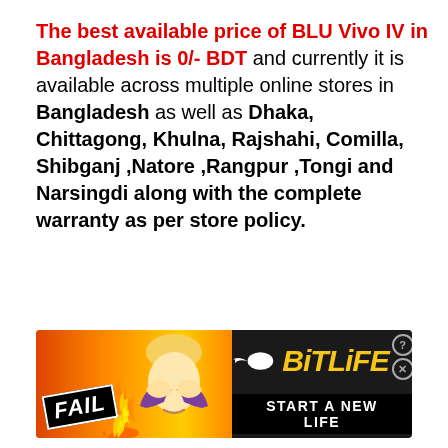The best available price of BLU Vivo IV in Bangladesh is 0/- BDT and currently it is available across multiple online stores in Bangladesh as well as Dhaka, Chittagong, Khulna, Rajshahi, Comilla, Shibganj ,Natore ,Rangpur ,Tongi and Narsingdi along with the complete warranty as per store policy.
[Figure (illustration): BitLife advertisement banner with 'FAIL' badge, animated face character, flames, sperm logo, BitLife yellow text, and 'START A NEW LIFE' tagline on dark background.]